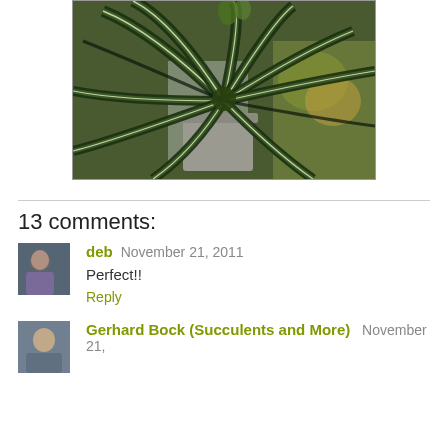[Figure (photo): Close-up photograph of a succulent or bromeliad plant with long narrow dark green leaves with light striping, in a pot on a windowsill with outdoor foliage visible in the background.]
13 comments:
deb November 21, 2011
Perfect!!
Reply
Gerhard Bock (Succulents and More) November 21,